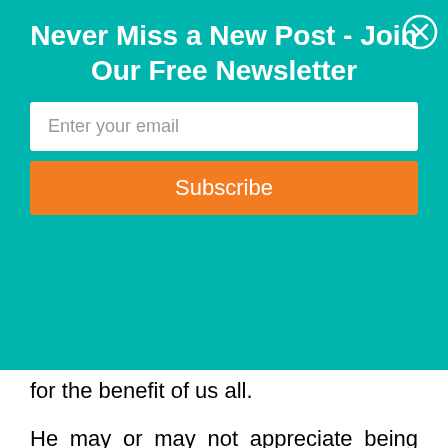Never Miss a New Post - Join Our Free Newsletter
Enter your email
Subscribe
for the benefit of us all.
He may or may not appreciate being called inspirational but it's a much deserved crown he should wear with pride!
Curb free with Cory Lee is a fantastic resource for anyone looking for accessible places to visit, we especially liked “10 of the Most Wheelchair Accessible